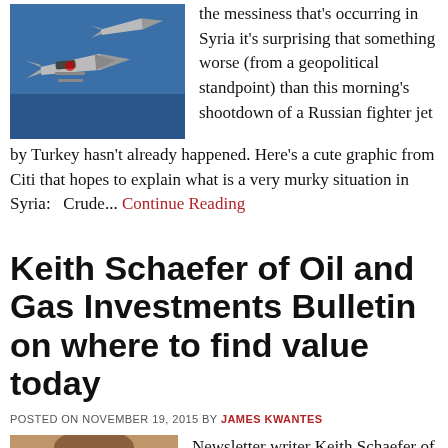[Figure (photo): Fighter jets (military aircraft) on blue background]
the messiness that's occurring in Syria it's surprising that something worse (from a geopolitical standpoint) than this morning's shootdown of a Russian fighter jet by Turkey hasn't already happened. Here's a cute graphic from Citi that hopes to explain what is a very murky situation in Syria:   Crude... Continue Reading
Keith Schaefer of Oil and Gas Investments Bulletin on where to find value today
POSTED ON NOVEMBER 19, 2015 BY JAMES KWANTES
[Figure (photo): Portrait photo of Keith Schaefer]
Newsletter writer Keith Schaefer of the acclaimed Oil and Gas